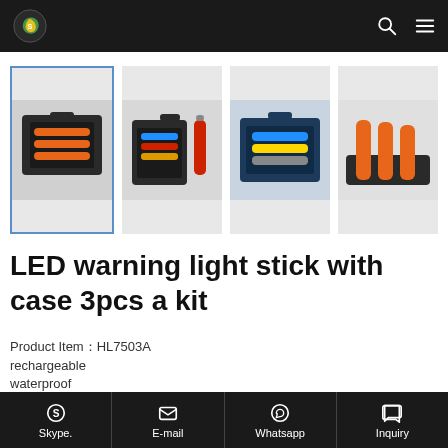Navigation bar with logo, search, and menu icons
[Figure (photo): Four thumbnail images of LED warning light stick sets in carrying cases: first selected with blue border showing orange sticks, second showing blue/red/rainbow sticks, third showing blue/yellow sticks, fourth showing orange sticks on gray background]
LED warning light stick with case 3pcs a kit
Product Item：HL7503A
rechargeable
waterproof
crushproof
led warning stick
Skype.   E-mail   Whatsapp   Inquiry